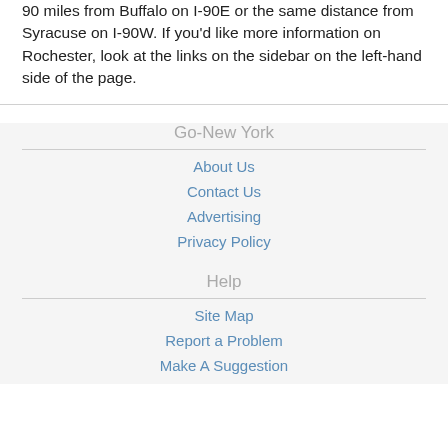90 miles from Buffalo on I-90E or the same distance from Syracuse on I-90W. If you'd like more information on Rochester, look at the links on the sidebar on the left-hand side of the page.
Go-New York
About Us
Contact Us
Advertising
Privacy Policy
Help
Site Map
Report a Problem
Make A Suggestion